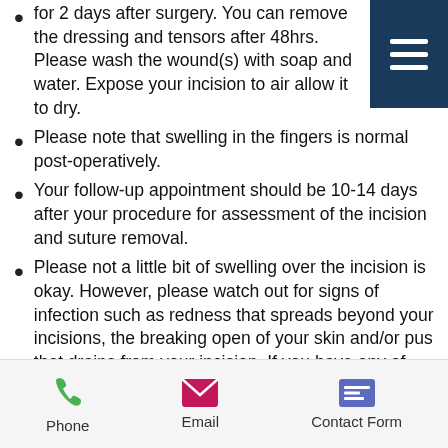for 2 days after surgery.  You can remove the dressing and tensors after 48hrs.  Please wash the wound(s) with soap and water.  Expose your incision to air allow it to dry.
Please note that swelling in the fingers is normal post-operatively.
Your follow-up appointment should be 10-14 days after your procedure for assessment of the incision and suture removal.
Please not a little bit of swelling over the incision is okay.  However, please watch out for signs of infection such as redness that spreads beyond your incisions, the breaking open of your skin and/or pus that drains from your incision.  If you have any of these signs, please call the minor surgery office to book an appointment to see Dr. Chivers as soon as possible.
Phone  Email  Contact Form